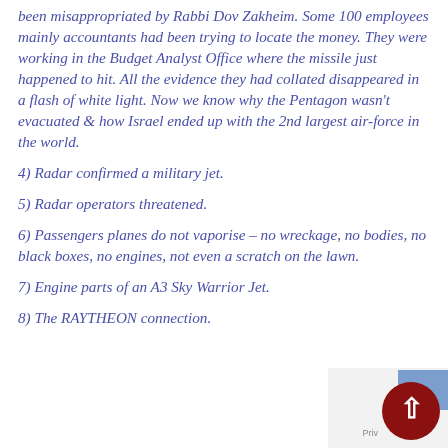3) When I made this video I didn't know $2.3 trillion had been misappropriated by Rabbi Dov Zakheim. Some 100 employees mainly accountants had been trying to locate the money. They were working in the Budget Analyst Office where the missile just happened to hit. All the evidence they had collated disappeared in a flash of white light. Now we know why the Pentagon wasn't evacuated & how Israel ended up with the 2nd largest air-force in the world.
4) Radar confirmed a military jet.
5) Radar operators threatened.
6) Passengers planes do not vaporise – no wreckage, no bodies, no black boxes, no engines, not even a scratch on the lawn.
7) Engine parts of an A3 Sky Warrior Jet.
8) The RAYTHEON connection.